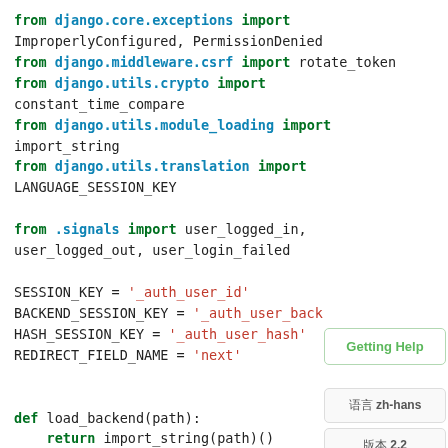from django.core.exceptions import ImproperlyConfigured, PermissionDenied
from django.middleware.csrf import rotate_token
from django.utils.crypto import constant_time_compare
from django.utils.module_loading import import_string
from django.utils.translation import LANGUAGE_SESSION_KEY

from .signals import user_logged_in, user_logged_out, user_login_failed

SESSION_KEY = '_auth_user_id'
BACKEND_SESSION_KEY = '_auth_user_back...
HASH_SESSION_KEY = '_auth_user_hash'
REDIRECT_FIELD_NAME = 'next'

def load_backend(path):
    return import_string(path)()
Getting Help
语言 zh-hans
版本 2.2